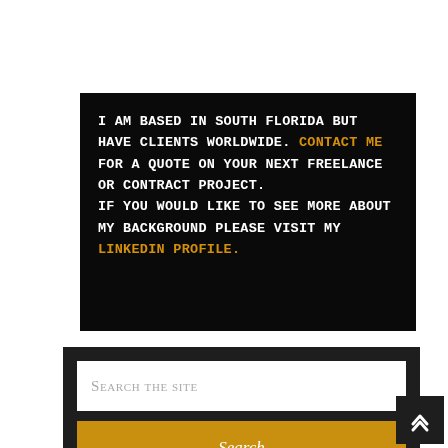I am based in South Florida but have clients worldwide. Contact me for a quote on your next freelance or contract project. If you would like to see more about my background please visit my LinkedIn Profile.
Search the site
Search